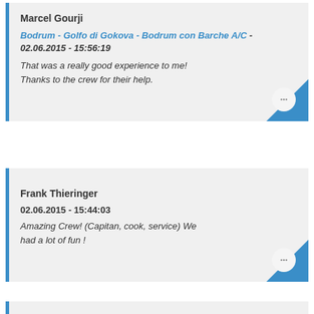Marcel Gourji
Bodrum - Golfo di Gokova - Bodrum con Barche A/C - 02.06.2015 - 15:56:19
That was a really good experience to me! Thanks to the crew for their help.
Frank Thieringer
02.06.2015 - 15:44:03
Amazing Crew! (Capitan, cook, service) We had a lot of fun !